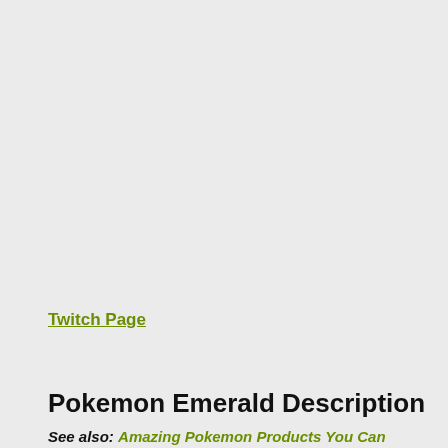Twitch Page
Pokemon Emerald Description
See also: Amazing Pokemon Products You Can Actually Buy...